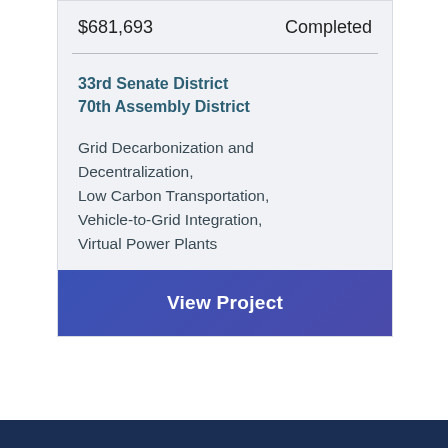$681,693   Completed
33rd Senate District
70th Assembly District
Grid Decarbonization and Decentralization, Low Carbon Transportation, Vehicle-to-Grid Integration, Virtual Power Plants
View Project